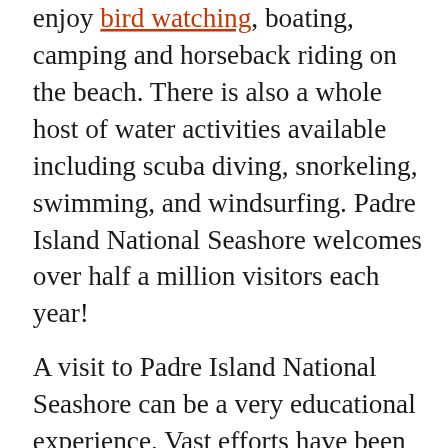enjoy bird watching, boating, camping and horseback riding on the beach. There is also a whole host of water activities available including scuba diving, snorkeling, swimming, and windsurfing. Padre Island National Seashore welcomes over half a million visitors each year!
A visit to Padre Island National Seashore can be a very educational experience. Vast efforts have been made throughout history to preserve the natural state of the national seashore area. The barrier island's rare terrain made up of coastal prairie and a dynamic dune system protects one of the few hypersaline lagoon environments in the world, the Laguna Madre. The national seashore is home to numerous marine and terrestrial plants and animals as well. Some of which are rare, threatened and/or endangered species. Padre
This site uses cookies. By continuing to browse the site, you are agreeing to our use of cookies.